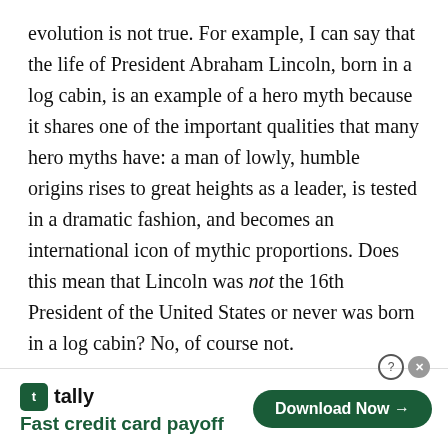evolution is not true. For example, I can say that the life of President Abraham Lincoln, born in a log cabin, is an example of a hero myth because it shares one of the important qualities that many hero myths have: a man of lowly, humble origins rises to great heights as a leader, is tested in a dramatic fashion, and becomes an international icon of mythic proportions. Does this mean that Lincoln was not the 16th President of the United States or never was born in a log cabin? No, of course not.

Paleontologist, Dr. Leonard Krishtalka, professor of paleontology at the Carnegie Museum of Natural
[Figure (other): Advertisement banner for Tally app: 'Fast credit card payoff' with a Download Now button]